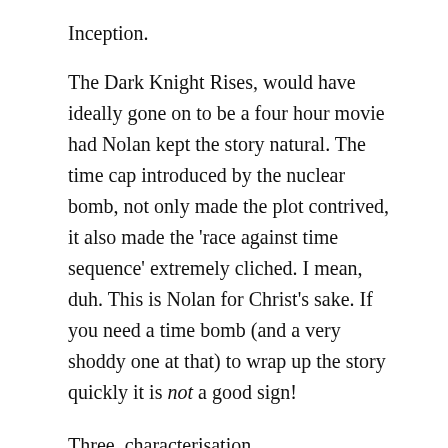Inception.
The Dark Knight Rises, would have ideally gone on to be a four hour movie had Nolan kept the story natural. The time cap introduced by the nuclear bomb, not only made the plot contrived, it also made the 'race against time sequence' extremely cliched. I mean, duh. This is Nolan for Christ's sake. If you need a time bomb (and a very shoddy one at that) to wrap up the story quickly it is not a good sign!
Three, characterisation.
Forgive me if I sound too skeptical but there was not one memorable character in the entire movie. I won't say the same thing about the performance of the cast however, because it was honestly very good. Anne Hathaway sparkled, and Michael Caine was at his bloody best. And while it wasn't Christian Bale's best